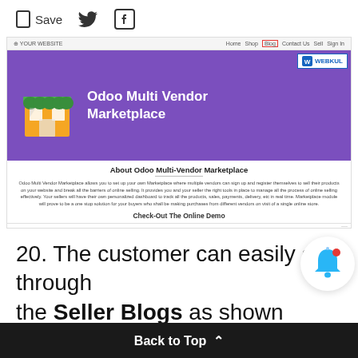Save  [Twitter icon]  [Facebook icon]
[Figure (screenshot): Screenshot of Odoo Multi Vendor Marketplace webpage showing navigation bar, hero banner with store icon and title 'Odoo Multi Vendor Marketplace', about section with description text and 'Check-Out The Online Demo' link]
20. The customer can easily go through the Seller Blogs as shown below:
Back to Top ^